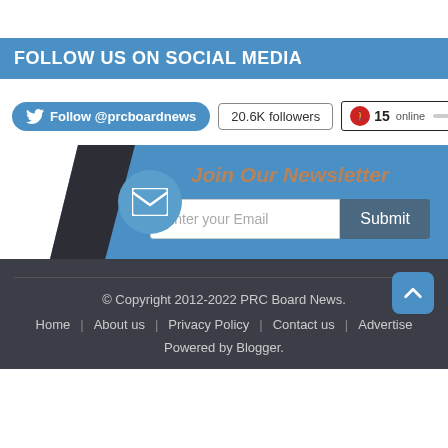FOLLOW US ON SOCIAL MEDIA
Follow @prcboardnews   20.6K followers   15 online
Join Our Newsletter
Enter your Email  Submit
© Copyright 2012-2022 PRC Board News.   Home | About us | Privacy Policy | Contact us | Advertise   Powered by Blogger.